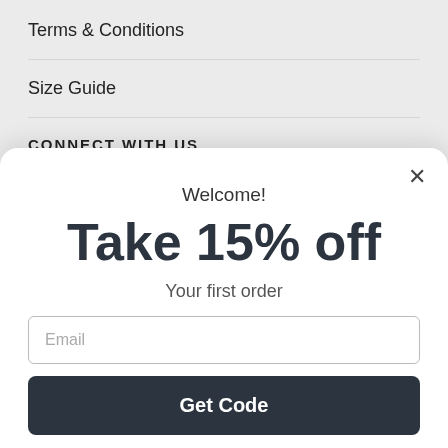Terms & Conditions
Size Guide
CONNECT WITH US
Welcome!
Take 15% off
Your first order
Email
Get Code